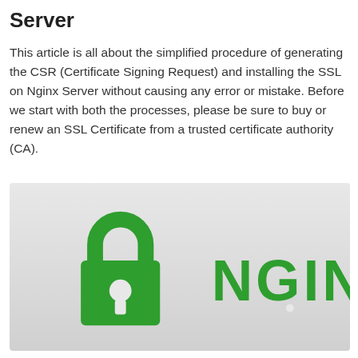Server
This article is all about the simplified procedure of generating the CSR (Certificate Signing Request) and installing the SSL on Nginx Server without causing any error or mistake. Before we start with both the processes, please be sure to buy or renew an SSL Certificate from a trusted certificate authority (CA).
[Figure (illustration): Illustration showing a green padlock icon on the left and the NGINX logo text in green on the right, on a light grey gradient background.]